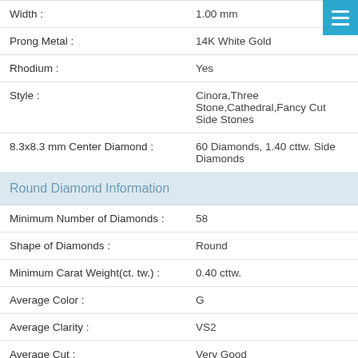| Property | Value |
| --- | --- |
| Width : | 1.00 mm |
| Prong Metal : | 14K White Gold |
| Rhodium : | Yes |
| Style : | Cinora,Three Stone,Cathedral,Fancy Cut Side Stones |
| 8.3x8.3 mm Center Diamond : | 60 Diamonds, 1.40 cttw. Side Diamonds |
| Round Diamond Information |  |
| Minimum Number of Diamonds : | 58 |
| Shape of Diamonds : | Round |
| Minimum Carat Weight(ct. tw.) : | 0.40 cttw. |
| Average Color : | G |
| Average Clarity : | VS2 |
| Average Cut : | Very Good |
| Setting Type : | Prong Setting |